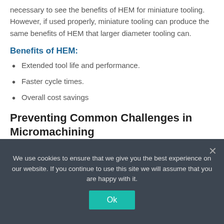necessary to see the benefits of HEM for miniature tooling. However, if used properly, miniature tooling can produce the same benefits of HEM that larger diameter tooling can.
Benefits of HEM:
Extended tool life and performance.
Faster cycle times.
Overall cost savings
Preventing Common Challenges in Micromachining
We use cookies to ensure that we give you the best experience on our website. If you continue to use this site we will assume that you are happy with it.